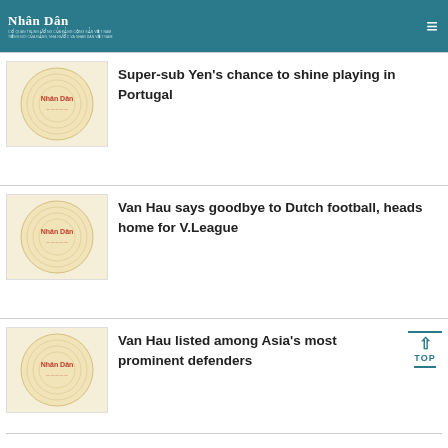Nhân Dân
Super-sub Yen's chance to shine playing in Portugal
Van Hau says goodbye to Dutch football, heads home for V.League
Van Hau listed among Asia's most prominent defenders